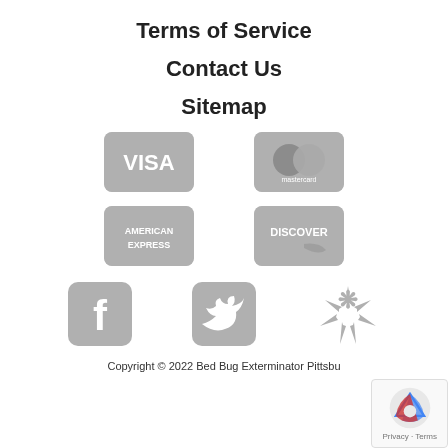Terms of Service
Contact Us
Sitemap
[Figure (logo): Payment method icons: Visa, Mastercard, American Express, Discover — all shown in gray]
[Figure (logo): Social media icons: Facebook, Twitter, Yelp — all shown in gray]
Copyright © 2022 Bed Bug Exterminator Pittsbu